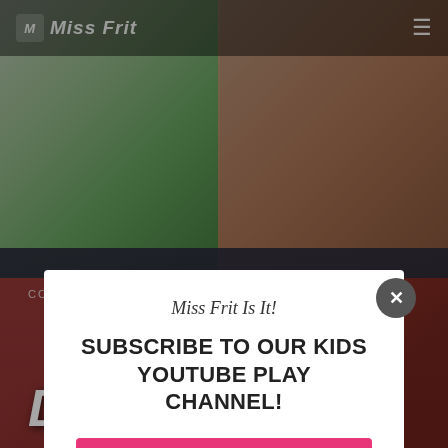[Figure (screenshot): Website screenshot of Miss Frit kids channel page with cartoon character illustrations in the background, showing a popup modal overlay. The background shows animated cartoon characters and coloring book style illustrations. The header reads 'Miss Frit' with a logo and hamburger menu. The bottom shows 'COME PLAY WITH MISS FRIT EPISODES' text and 'Dentist Office' large title.]
Miss Frit
Miss Frit Is It!
SUBSCRIBE TO OUR KIDS YOUTUBE PLAY CHANNEL!
Click to subscribe!
COME PLAY WITH MISS FRIT EPISODES
Dentist Office